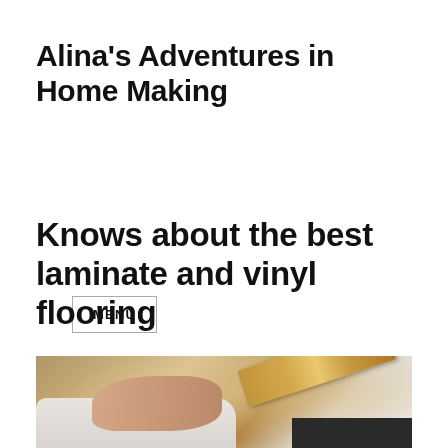Alina's Adventures in Home Making
MENU
Knows about the best laminate and vinyl flooring
[Figure (photo): Person installing laminate or vinyl flooring planks, wearing white clothing, holding a wood-grain flooring plank.]